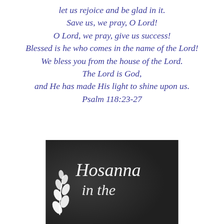let us rejoice and be glad in it. Save us, we pray, O Lord! O Lord, we pray, give us success! Blessed is he who comes in the name of the Lord! We bless you from the house of the Lord. The Lord is God, and He has made His light to shine upon us. Psalm 118:23-27
[Figure (photo): Dark chalkboard-style image with white hand-lettered cursive text reading 'Hosanna in the' with a white leaf/branch illustration on the left side]